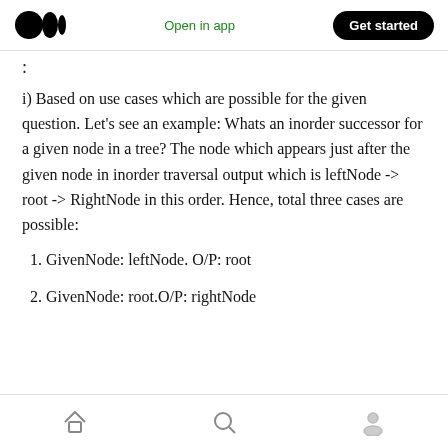Open in app  Get started
:
i) Based on use cases which are possible for the given question. Let’s see an example: Whats an inorder successor for a given node in a tree? The node which appears just after the given node in inorder traversal output which is leftNode -> root -> RightNode in this order. Hence, total three cases are possible:
1. GivenNode: leftNode. O/P: root
2. GivenNode: root.O/P: rightNode
home  search  profile